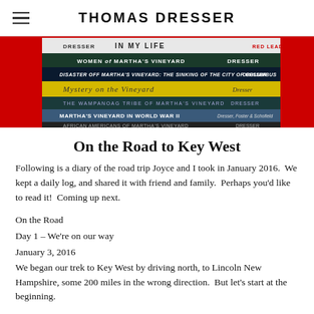THOMAS DRESSER
[Figure (photo): Stack of book spines by Thomas Dresser, including titles: IN MY LIFE, WOMEN of MARTHA'S VINEYARD, DISASTER OFF MARTHA'S VINEYARD: THE SINKING OF THE CITY OF COLUMBUS, Mystery on the Vineyard, THE WAMPANOAG TRIBE OF MARTHA'S VINEYARD, MARTHA'S VINEYARD IN WORLD WAR II, AFRICAN AMERICANS OF MARTHA'S VINEYARD]
On the Road to Key West
Following is a diary of the road trip Joyce and I took in January 2016.  We kept a daily log, and shared it with friend and family.  Perhaps you'd like to read it!  Coming up next.
On the Road
Day 1 – We're on our way
January 3, 2016
We began our trek to Key West by driving north, to Lincoln New Hampshire, some 200 miles in the wrong direction.  But let's start at the beginning.